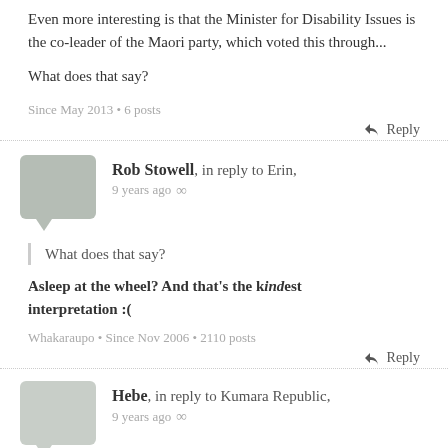Even more interesting is that the Minister for Disability Issues is the co-leader of the Maori party, which voted this through...
What does that say?
Since May 2013 • 6 posts
↩ Reply
Rob Stowell, in reply to Erin, 9 years ago ∞
What does that say?
Asleep at the wheel? And that's the kindest interpretation :(
Whakaraupo • Since Nov 2006 • 2110 posts
↩ Reply
Hebe, in reply to Kumara Republic, 9 years ago ∞